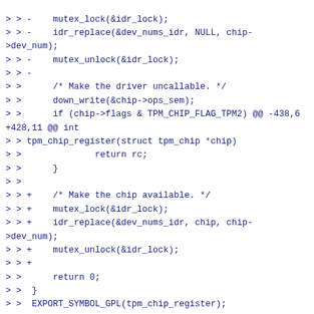> > -    mutex_lock(&idr_lock);
> > -    idr_replace(&dev_nums_idr, NULL, chip->dev_num);
> > -    mutex_unlock(&idr_lock);
> > -
> >      /* Make the driver uncallable. */
> >      down_write(&chip->ops_sem);
> >      if (chip->flags & TPM_CHIP_FLAG_TPM2) @@ -438,6 +428,11 @@ int
> > tpm_chip_register(struct tpm_chip *chip)
> >              return rc;
> >      }
> >
> > +    /* Make the chip available. */
> > +    mutex_lock(&idr_lock);
> > +    idr_replace(&dev_nums_idr, chip, chip->dev_num);
> > +    mutex_unlock(&idr_lock);
> > +
> >      return 0;
> >  }
> >  EXPORT_SYMBOL_GPL(tpm_chip_register);
> > @@ -457,6 +452,11 @@ EXPORT_SYMBOL_GPL(tpm_chip_register);
> >   */
> >  void tpm_chip_unregister(struct tpm_chip *chip)  {
> > +    /* Make the chip unavailable. */
> > +    mutex_lock(&idr_lock);
> > +    idr_replace(&dev_nums_idr, NULL, chip->dev_num);